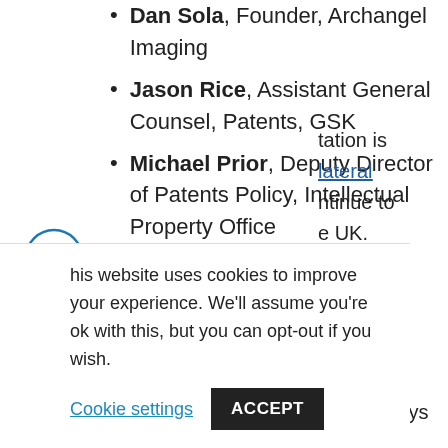Dan Sola, Founder, Archangel Imaging
Jason Rice, Assistant General Counsel, Patents, GSK
Michael Prior, Deputy Director of Patents Policy, Intellectual Property Office
Comment
[Figure (other): Social sharing icons: LinkedIn, Twitter, Facebook, Email, Print, Back arrow]
This website uses cookies to improve your experience. We'll assume you're ok with this, but you can opt-out if you wish. Cookie settings ACCEPT
...tation is ...lateral ...ntinue to ...e UK. ...ent's National AI Strategy, the UK enjoys the